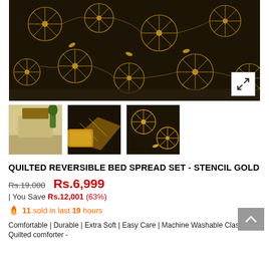[Figure (photo): Main product image: quilted reversible bed spread with dark background and gold floral stencil pattern, draped over a bed. Expand icon in bottom right corner.]
[Figure (photo): Thumbnail 1: Full bed view with the quilted spread in a bedroom setting.]
[Figure (photo): Thumbnail 2: Folded view of the quilted spread showing gold/mustard reverse side.]
[Figure (photo): Thumbnail 3: Close-up of the gold stencil floral pattern on dark background.]
QUILTED REVERSIBLE BED SPREAD SET - STENCIL GOLD
Rs.19,000  Rs.6,999
| You Save Rs.12,001 (63%)
11 sold in last 19 hours
Comfortable | Durable | Extra Soft | Easy Care | Machine Washable Classic Quilted comforter -